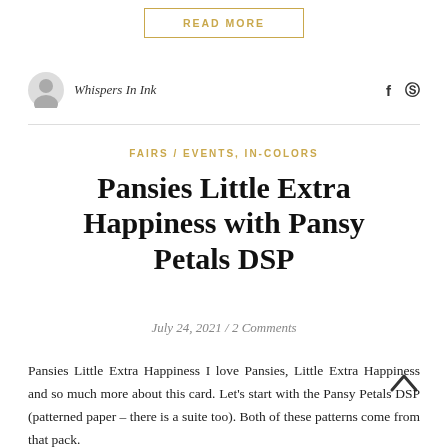READ MORE
Whispers In Ink
FAIRS / EVENTS, IN-COLORS
Pansies Little Extra Happiness with Pansy Petals DSP
July 24, 2021 / 2 Comments
Pansies Little Extra Happiness I love Pansies, Little Extra Happiness and so much more about this card. Let's start with the Pansy Petals DSP (patterned paper – there is a suite too). Both of these patterns come from that pack.